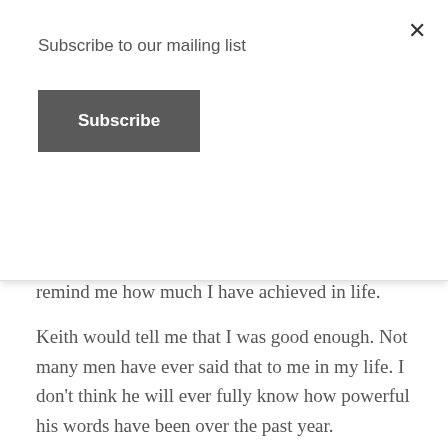Subscribe to our mailing list
Subscribe
drive (which was rare) ...he didn't say that... but he would tell me what a great mum I was. And remind me how much I have achieved in life.
Keith would tell me that I was good enough. Not many men have ever said that to me in my life. I don't think he will ever fully know how powerful his words have been over the past year.
Keith likes speedway and country music. I like